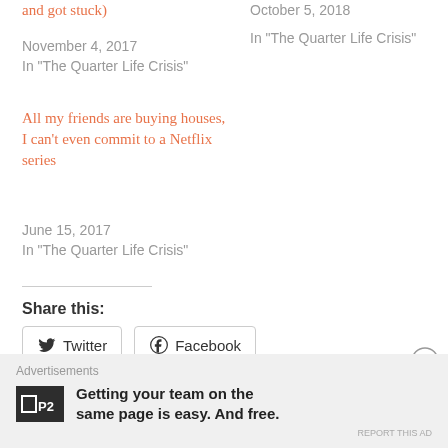and got stuck)
November 4, 2017
In "The Quarter Life Crisis"
October 5, 2018
In "The Quarter Life Crisis"
All my friends are buying houses, I can't even commit to a Netflix series
June 15, 2017
In "The Quarter Life Crisis"
Share this:
Twitter
Facebook
Like this:
Advertisements
Getting your team on the same page is easy. And free.